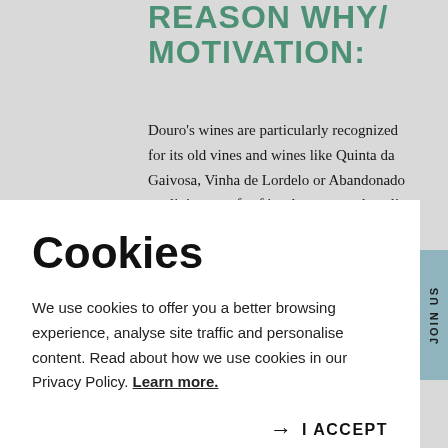REASON WHY/ MOTIVATION:
Douro's wines are particularly recognized for its old vines and wines like Quinta da Gaivosa, Vinha de Lordelo or Abandonado are living proofs of its character and quality.
Cookies
We use cookies to offer you a better browsing experience, analyse site traffic and personalise content. Read about how we use cookies in our Privacy Policy. Learn more.
→  I ACCEPT
alto").